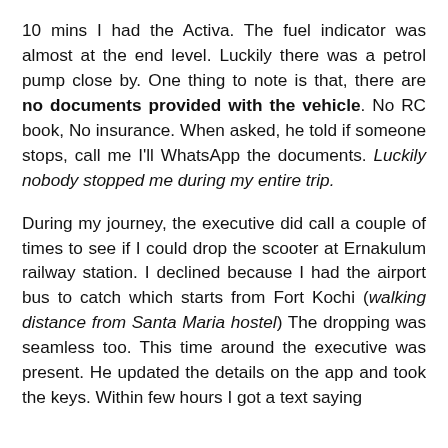10 mins I had the Activa. The fuel indicator was almost at the end level. Luckily there was a petrol pump close by. One thing to note is that, there are no documents provided with the vehicle. No RC book, No insurance. When asked, he told if someone stops, call me I'll WhatsApp the documents. Luckily nobody stopped me during my entire trip.
During my journey, the executive did call a couple of times to see if I could drop the scooter at Ernakulum railway station. I declined because I had the airport bus to catch which starts from Fort Kochi (walking distance from Santa Maria hostel) The dropping was seamless too. This time around the executive was present. He updated the details on the app and took the keys. Within few hours I got a text saying that the security deposit it was not will be...